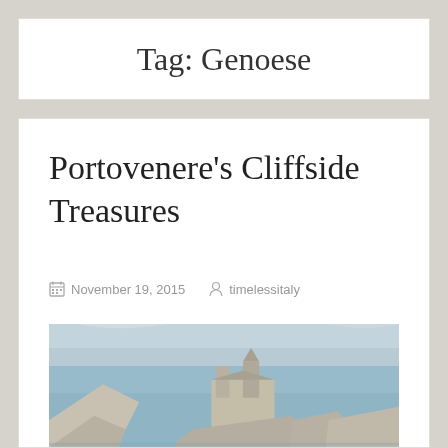Tag: Genoese
Portovenere's Cliffside Treasures
November 19, 2015  timelessitaly
[Figure (photo): Coastal view of Portovenere showing a stone church on rocky cliffs overlooking the sea under a cloudy sky]